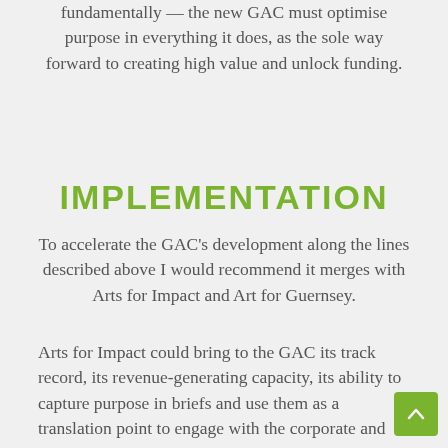fundamentally — the new GAC must optimise purpose in everything it does, as the sole way forward to creating high value and unlock funding.
IMPLEMENTATION
To accelerate the GAC's development along the lines described above I would recommend it merges with Arts for Impact and Art for Guernsey.
Arts for Impact could bring to the GAC its track record, its revenue-generating capacity, its ability to capture purpose in briefs and use them as a translation point to engage with the corporate and medical world and its ability to run health